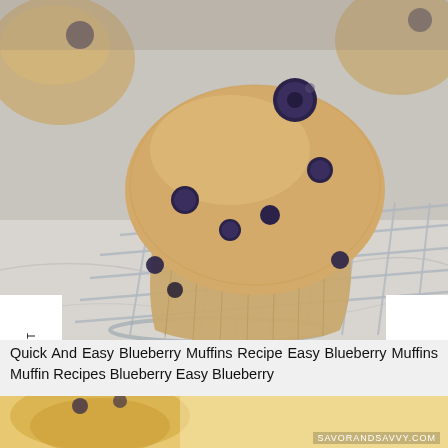[Figure (photo): Close-up photo of a blueberry muffin on a stainless steel cooling rack on a marble surface, with more muffins blurred in background. Navigation labels 'PREVIOUS POST' on the left side and 'NEXT POST' on the right side overlaid as white vertical banners.]
Quick And Easy Blueberry Muffins Recipe Easy Blueberry Muffins Muffin Recipes Blueberry Easy Blueberry
[Figure (photo): Partial bottom strip showing another muffin photo with watermark SAVORANDSAVVY.COM]